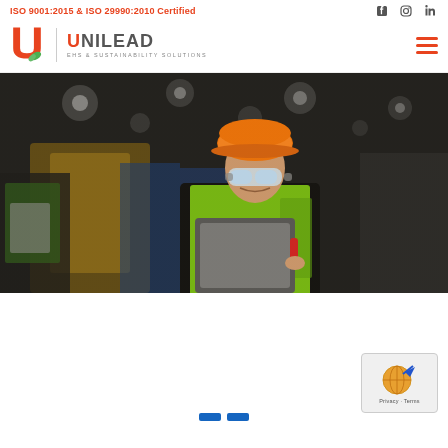ISO 9001:2015 & ISO 29990:2010 Certified
[Figure (logo): Unilead EHS & Sustainability Solutions logo with orange U letter and green leaf]
[Figure (photo): Industrial worker wearing orange hard hat and yellow safety vest, writing on clipboard in a factory setting]
[Figure (other): Privacy Terms badge with globe and arrow icon]